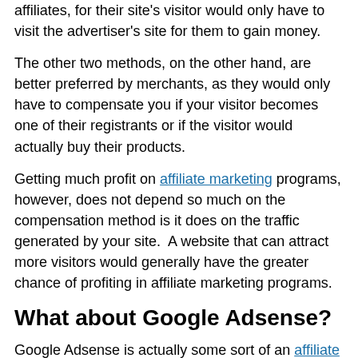affiliates, for their site's visitor would only have to visit the advertiser's site for them to gain money.
The other two methods, on the other hand, are better preferred by merchants, as they would only have to compensate you if your visitor becomes one of their registrants or if the visitor would actually buy their products.
Getting much profit on affiliate marketing programs, however, does not depend so much on the compensation method is it does on the traffic generated by your site.  A website that can attract more visitors would generally have the greater chance of profiting in affiliate marketing programs.
What about Google Adsense?
Google Adsense is actually some sort of an affiliate marketing program.  In Google Adsense, Google act as